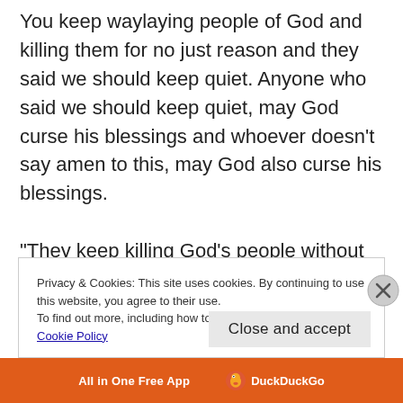You keep waylaying people of God and killing them for no just reason and they said we should keep quiet. Anyone who said we should keep quiet, may God curse his blessings and whoever doesn't say amen to this, may God also curse his blessings.
“They keep killing God’s people without any reason. We hear they kill us with weapons (talking
Privacy & Cookies: This site uses cookies. By continuing to use this website, you agree to their use.
To find out more, including how to control cookies, see here: Cookie Policy